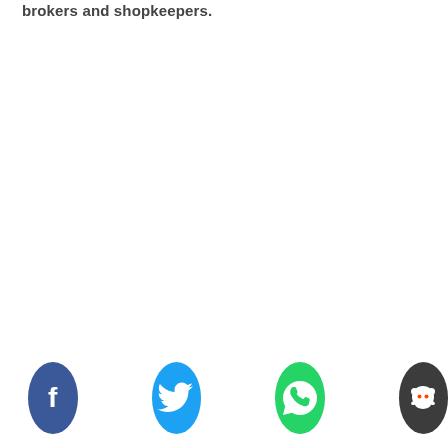brokers and shopkeepers.
[Figure (illustration): Four social media share buttons in a row at the bottom: Facebook (dark blue circle with 'f' icon), Twitter (light blue circle with bird icon), WhatsApp (green circle with phone/chat icon), Reddit (dark grey circle with alien mascot icon).]